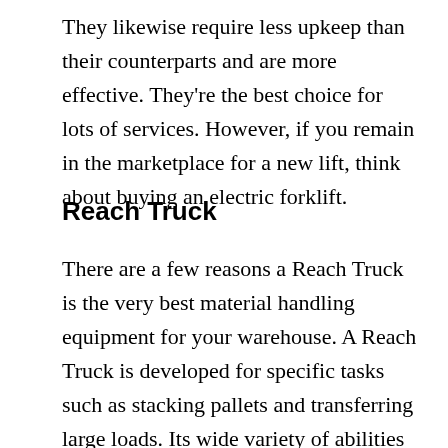They likewise require less upkeep than their counterparts and are more effective. They're the best choice for lots of services. However, if you remain in the marketplace for a new lift, think about buying an electric forklift.
Reach Truck
There are a few reasons a Reach Truck is the very best material handling equipment for your warehouse. A Reach Truck is developed for specific tasks such as stacking pallets and transferring large loads. Its wide variety of abilities and different options assist you achieve your